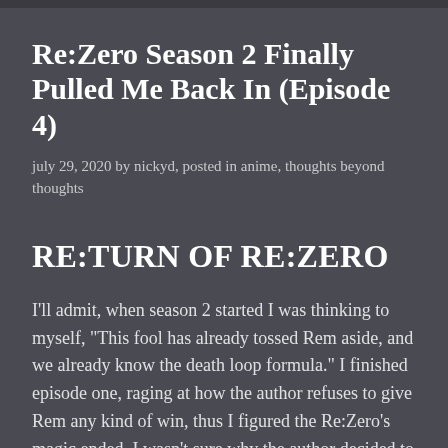Re:Zero Season 2 Finally Pulled Me Back In (Episode 4)
july 29, 2020 by nickyd, posted in anime, thoughts beyond thoughts
RE:TURN OF RE:ZERO
I'll admit, when season 2 started I was thinking to myself, "This fool has already tossed Rem aside, and we already know the death loop formula." I finished episode one, raging at how the author refuses to give Rem any kind of win, thus I figured the Re:Zero's magic ended. I wasn't sure why the author decided to turn the focus to saving Rem when there are more immediate dangers such as